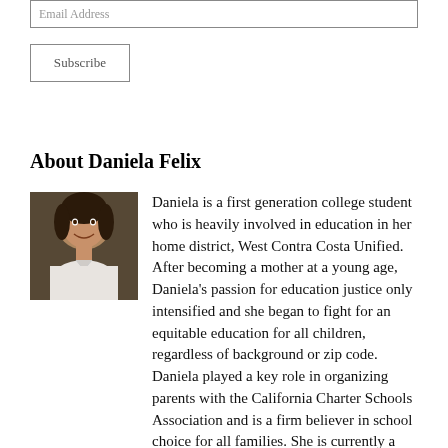Email Address
Subscribe
About Daniela Felix
[Figure (photo): Headshot photo of Daniela Felix, a young woman smiling.]
Daniela is a first generation college student who is heavily involved in education in her home district, West Contra Costa Unified. After becoming a mother at a young age, Daniela's passion for education justice only intensified and she began to fight for an equitable education for all children, regardless of background or zip code. Daniela played a key role in organizing parents with the California Charter Schools Association and is a firm believer in school choice for all families. She is currently a Lead Organizer with Students for Education Reform, organizing college students around education justice issues in her home district. She